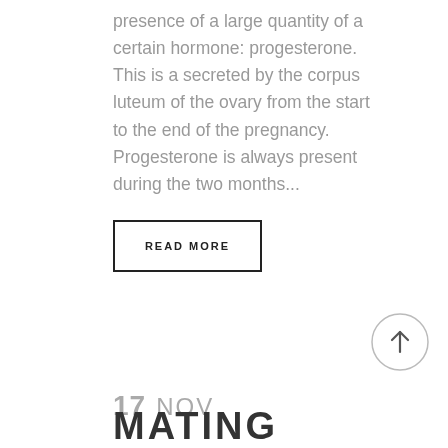presence of a large quantity of a certain hormone: progesterone. This is a secreted by the corpus luteum of the ovary from the start to the end of the pregnancy. Progesterone is always present during the two months...
READ MORE
[Figure (illustration): Circular button with upward-pointing arrow icon]
17 NOV
MATING